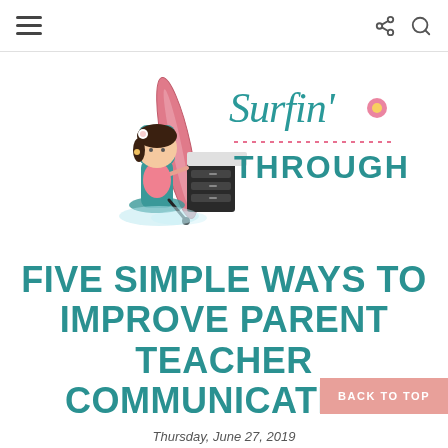Navigation bar with hamburger menu and share/search icons
[Figure (logo): Surfin' Through Second blog logo featuring a cartoon girl sitting at a desk with a surfboard, with the text 'Surfin'' in teal cursive and 'THROUGH SECOND' in teal block letters with dotted decorative lines]
FIVE SIMPLE WAYS TO IMPROVE PARENT TEACHER COMMUNICATION
Thursday, June 27, 2019